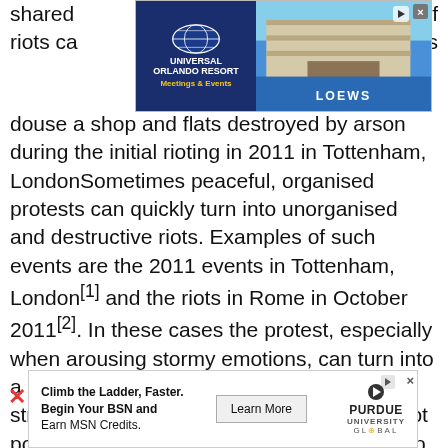[Figure (screenshot): Universal Orlando Resort advertisement banner with logo and hotel image (Loews)]
shared ...es of riots ca... ...ters douse a shop and flats destroyed by arson during the initial rioting in 2011 in Tottenham, LondonSometimes peaceful, organised protests can quickly turn into unorganised and destructive riots. Examples of such events are the 2011 events in Tottenham, London[1] and the riots in Rome in October 2011[2]. In these cases the protest, especially when arousing stormy emotions, can turn into a riot when external circumstances provoke strong and emotional responses. Events Riot police managing fans after a 2008 EUFA cup football match in ManchesterEvents which arouse strong emotions, especially when aggravated by a strong sense of competition or the use of alcohol, can disinhibit natural
[Figure (screenshot): Purdue University Global advertisement: Climb the Ladder, Faster. Begin Your BSN and Earn MSN Credits. Learn More button.]